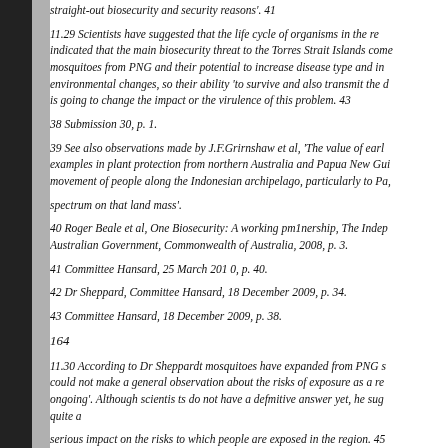straight-out biosecurity and security reasons'. 41
11.29 Scientists have suggested that the life cycle of organisms in the re... indicated that the main biosecurity threat to the Torres Strait Islands come... mosquitoes from PNG and their potential to increase disease type and in... environmental changes, so their ability 'to survive and also transmit the d... is going to change the impact or the virulence of this problem. 43
38 Submission 30, p. 1.
39 See also observations made by J.F.Grirnshaw et al, 'The value of earl... examples in plant protection from northern Australia and Papua New Gui... movement of people along the Indonesian archipelago, particularly to Pa,
spectrum on that land mass'.
40 Roger Beale et al, One Biosecurity: A working pm1nership, The Indep... Australian Government, Commonwealth of Australia, 2008, p. 3.
41 Committee Hansard, 25 March 201 0, p. 40.
42 Dr Sheppard, Committee Hansard, 18 December 2009, p. 34.
43 Committee Hansard, 18 December 2009, p. 38.
164
11.30 According to Dr Sheppardt mosquitoes have expanded from PNG s... could not make a general observation about the risks of exposure as a re... ongoing'. Although scientis ts do not have a defmitive answer yet, he sug... quite a
serious impact on the risks to which people are exposed in the region. 45... impact', the predictive capacity is 'hampered by a lack of high-quality obs... research started only about 12 to 18 months ago. He informed the comm...
So, while we believe the risk is on the increase, we have not been able t...